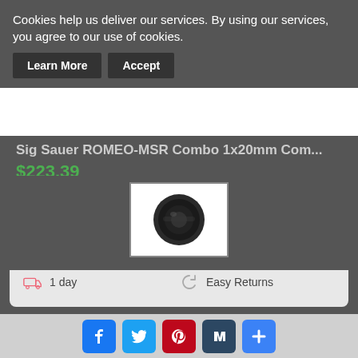Cookies help us deliver our services. By using our services, you agree to our use of cookies.
Learn More | Accept
Sig Sauer ROMEO-MSR Combo 1x20mm Com…
$223.39
Buy it Now
New
16 Day(s) 3 h(s)
Worldwide
1 day
Easy Returns
Buy it Now
[Figure (photo): Product thumbnail image of a camera lens or optic device]
Facebook, Twitter, Pinterest, Tumblr, Plus social share buttons